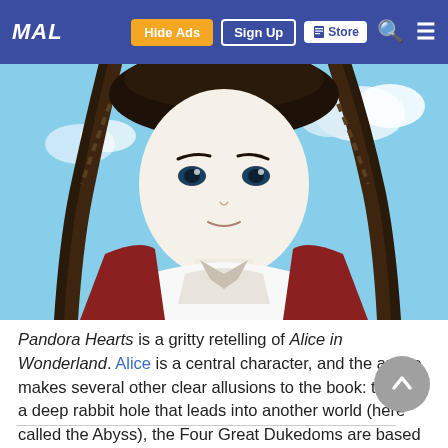MAL | Hide Ads | Sign Up | Store
[Figure (illustration): Anime character screenshot from Pandora Hearts showing a dark-haired character in white and red clothing against a blue sky background]
Pandora Hearts is a gritty retelling of Alice in Wonderland. Alice is a central character, and the anime makes several other clear allusions to the book: there's a deep rabbit hole that leads into another world (here called the Abyss), the Four Great Dukedoms are based on the four suits of a deck of cards, and even the episode titles make references to the book.
There are even a few nods to the book's author himself, like Lutwidge Academy, which is named for Lewis Carroll's real name, Charles Lutwidge.